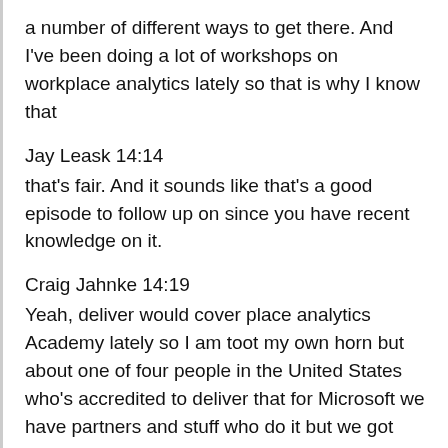a number of different ways to get there. And I've been doing a lot of workshops on workplace analytics lately so that is why I know that
Jay Leask 14:14
that's fair. And it sounds like that's a good episode to follow up on since you have recent knowledge on it.
Craig Jahnke 14:19
Yeah, deliver would cover place analytics Academy lately so I am toot my own horn but about one of four people in the United States who's accredited to deliver that for Microsoft we have partners and stuff who do it but we got some better people going to be doing it but some really accidentally ended up in the trial for
Jay Leask 14:40